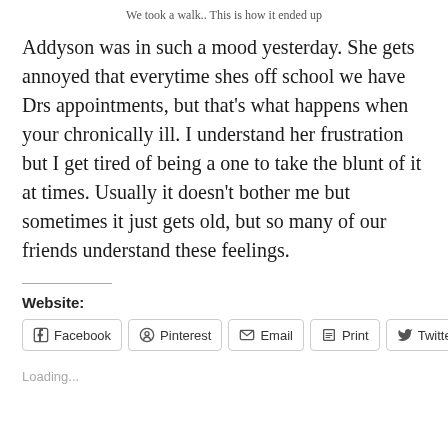We took a walk.. This is how it ended up
Addyson was in such a mood yesterday. She gets annoyed that everytime shes off school we have Drs appointments, but that’s what happens when your chronically ill. I understand her frustration but I get tired of being a one to take the blunt of it at times. Usually it doesn’t bother me but sometimes it just gets old, but so many of our friends understand these feelings.
Website:
Facebook  Pinterest  Email  Print  Twitter
Loading...